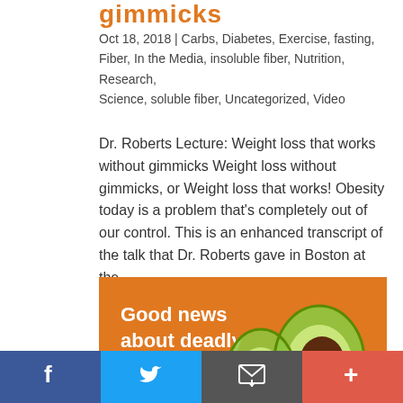gimmicks
Oct 18, 2018 | Carbs, Diabetes, Exercise, fasting, Fiber, In the Media, insoluble fiber, Nutrition, Research, Science, soluble fiber, Uncategorized, Video
Dr. Roberts Lecture: Weight loss that works without gimmicks Weight loss without gimmicks, or Weight loss that works! Obesity today is a problem that’s completely out of our control. This is an enhanced transcript of the talk that Dr. Roberts gave in Boston at the…
[Figure (illustration): Orange banner image with white text reading 'Good news about deadly diseases' and an illustration of a halved avocado on the right side]
f | Twitter bird icon | Email icon | +